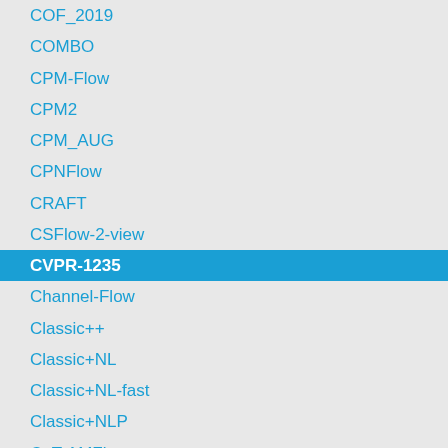COF_2019
COMBO
CPM-Flow
CPM2
CPM_AUG
CPNFlow
CRAFT
CSFlow-2-view
CVPR-1235
Channel-Flow
Classic++
Classic+NL
Classic+NL-fast
Classic+NLP
CoT-AMFlow
CompactFlow
CompactFlow-woscv
ComponentFusion
ContFusion